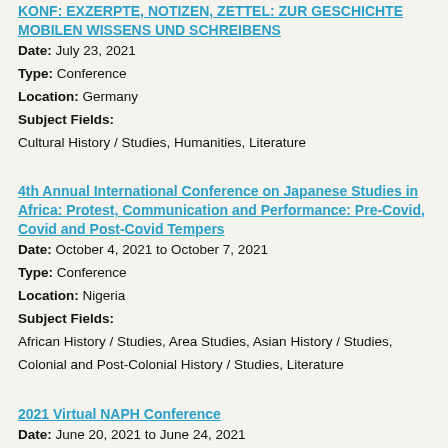KONF: EXZERPTE, NOTIZEN, ZETTEL: ZUR GESCHICHTE MOBILEN WISSENS UND SCHREIBENS
Date: July 23, 2021
Type: Conference
Location: Germany
Subject Fields:
Cultural History / Studies, Humanities, Literature
4th Annual International Conference on Japanese Studies in Africa: Protest, Communication and Performance: Pre-Covid, Covid and Post-Covid Tempers
Date: October 4, 2021 to October 7, 2021
Type: Conference
Location: Nigeria
Subject Fields:
African History / Studies, Area Studies, Asian History / Studies, Colonial and Post-Colonial History / Studies, Literature
2021 Virtual NAPH Conference
Date: June 20, 2021 to June 24, 2021
Type: Conference